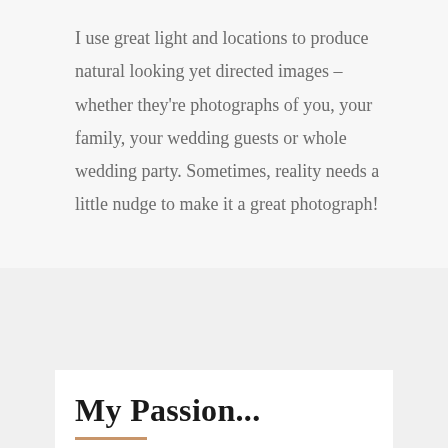I use great light and locations to produce natural looking yet directed images – whether they're photographs of you, your family, your wedding guests or whole wedding party. Sometimes, reality needs a little nudge to make it a great photograph!
My Passion...